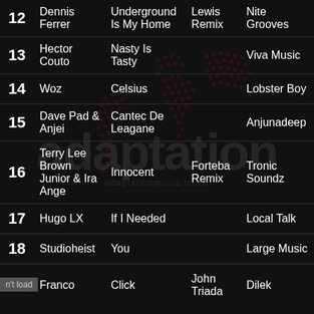| # | Artist | Track | Remix | Label |
| --- | --- | --- | --- | --- |
| 12 | Dennis Ferrer | Underground Is My Home | Lewis Remix | Nite Grooves |
| 13 | Hector Couto | Nasty Is Tasty |  | Viva Music |
| 14 | Woz | Celsius |  | Lobster Boy |
| 15 | Dave Pad & Anjei | Cantec De Leagane |  | Anjunadeep |
| 16 | Terry Lee Brown Junior & Ira Ange | Innocent | Forteba Remix | Tronic Soundz |
| 17 | Hugo LX | If I Needed |  | Local Talk |
| 18 | Studioheist | You |  | Large Music |
| 19 | Franco | Click | John Triada | Dilek |